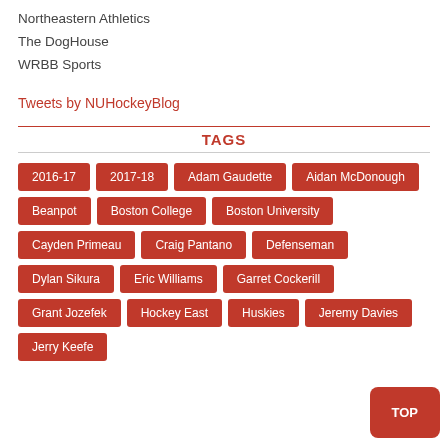Northeastern Athletics
The DogHouse
WRBB Sports
Tweets by NUHockeyBlog
TAGS
2016-17
2017-18
Adam Gaudette
Aidan McDonough
Beanpot
Boston College
Boston University
Cayden Primeau
Craig Pantano
Defenseman
Dylan Sikura
Eric Williams
Garret Cockerill
Grant Jozefek
Hockey East
Huskies
Jeremy Davies
Jerry Keefe